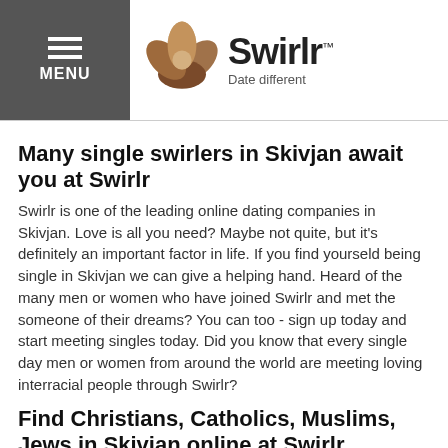Swirlr — Date different (navigation header with menu)
Many single swirlers in Skivjan await you at Swirlr
Swirlr is one of the leading online dating companies in Skivjan. Love is all you need? Maybe not quite, but it's definitely an important factor in life. If you find yourseld being single in Skivjan we can give a helping hand. Heard of the many men or women who have joined Swirlr and met the someone of their dreams? You can too - sign up today and start meeting singles today. Did you know that every single day men or women from around the world are meeting loving interracial people through Swirlr?
Find Christians, Catholics, Muslims, Jews in Skivjan online at Swirlr
You just need to make the right connections! Join Swirlr today and meet your dream partner. No, your love life isn't over – join Swirlr to meet Christians, Catholics, Muslims, Jews in Skivjan and realise